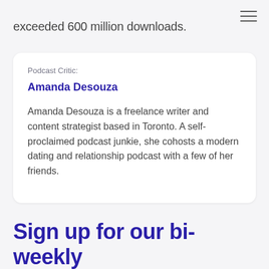exceeded 600 million downloads.
Podcast Critic:
Amanda Desouza
Amanda Desouza  is a freelance writer and content strategist based in Toronto. A self-proclaimed podcast junkie, she cohosts a modern dating and relationship podcast with a few of her friends.
Sign up for our bi-weekly